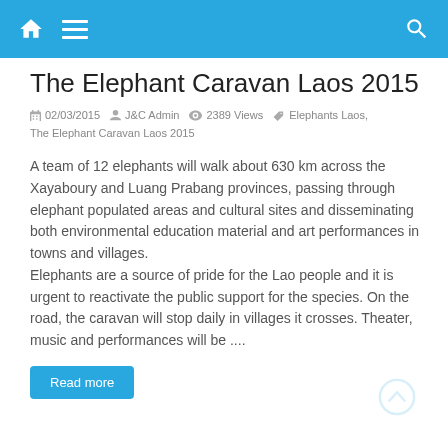Navigation bar with home, menu, and search icons
The Elephant Caravan Laos 2015
02/03/2015  J&C Admin  2389 Views  Elephants Laos, The Elephant Caravan Laos 2015
A team of 12 elephants will walk about 630 km across the Xayaboury and Luang Prabang provinces, passing through elephant populated areas and cultural sites and disseminating both environmental education material and art performances in towns and villages. Elephants are a source of pride for the Lao people and it is urgent to reactivate the public support for the species. On the road, the caravan will stop daily in villages it crosses. Theater, music and performances will be ....
Read more